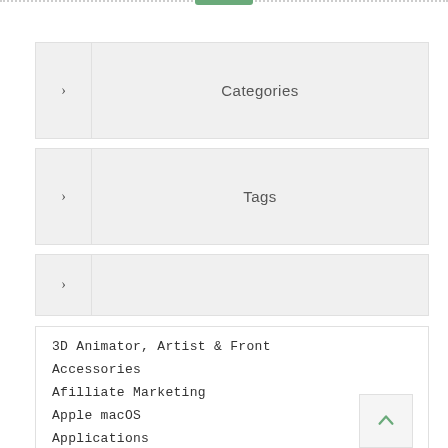Categories
Tags
3D Animator, Artist & Front
Accessories
Afilliate Marketing
Apple macOS
Applications
Batteries and Flashlights
Beauty, Hair, Make Up
Business Online
Camera Digital & Camcorder